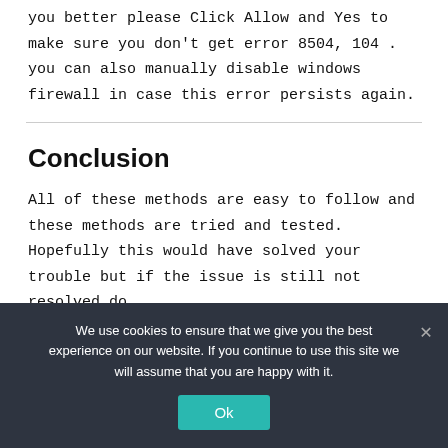you better please Click Allow and Yes to make sure you don't get error 8504, 104 . you can also manually disable windows firewall in case this error persists again.
Conclusion
All of these methods are easy to follow and these methods are tried and tested. Hopefully this would have solved your trouble but if the issue is still not resolved do contact our expert desktop help you fix the problem
We use cookies to ensure that we give you the best experience on our website. If you continue to use this site we will assume that you are happy with it.